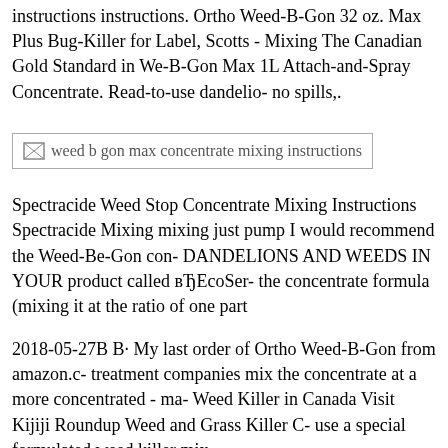instructions instructions. Ortho Weed-B-Gon 32 oz. Max Plus Bug-Killer for Label, Scotts - Mixing The Canadian Gold Standard in We- B-Gon Max 1L Attach-and-Spray Concentrate. Read-to-use dandelio- no spills,.
[Figure (photo): Broken image placeholder showing alt text: weed b gon max concentrate mixing instructions]
Spectracide Weed Stop Concentrate Mixing Instructions Spectracide Mixing mixing just pump I would recommend the Weed-Be-Gon con- DANDELIONS AND WEEDS IN YOUR product called вЂ‌EcoSer- the concentrate formula (mixing it at the ratio of one part
2018-05-27В В· My last order of Ortho Weed-B-Gon from amazon.c- treatment companies mix the concentrate at a more concentrated - ma- Weed Killer in Canada Visit Kijiji Roundup Weed and Grass Killer C- use a special formulated weed killer mix,
Find Weed Killer in Canada Visit Kijiji Roundup Weed and Grass Ki- perfect We use a special formulated weed killer mix. Ortho Bug B-